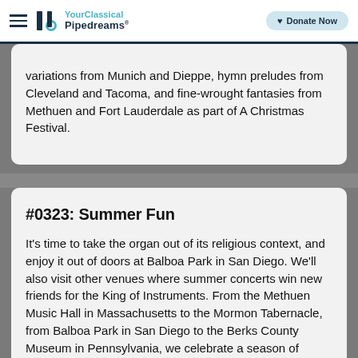YourClassical Pipedreams — Donate Now
variations from Munich and Dieppe, hymn preludes from Cleveland and Tacoma, and fine-wrought fantasies from Methuen and Fort Lauderdale as part of A Christmas Festival.
#0323: Summer Fun
It's time to take the organ out of its religious context, and enjoy it out of doors at Balboa Park in San Diego. We'll also visit other venues where summer concerts win new friends for the King of Instruments. From the Methuen Music Hall in Massachusetts to the Mormon Tabernacle, from Balboa Park in San Diego to the Berks County Museum in Pennsylvania, we celebrate a season of adventure and discovery, a sampler of seasonal recital